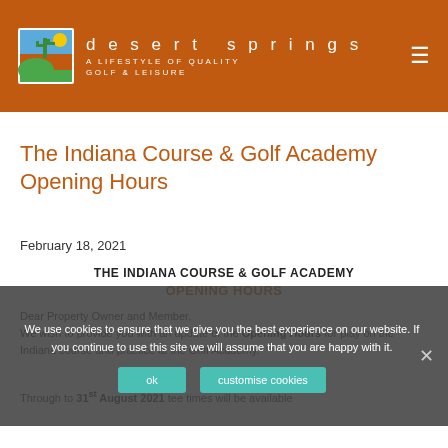desert springs | A LIFESTYLE OF QUALITY GOLF & LEISURE
The Indiana Course & Golf Academy Opening Hours
February 18, 2021
THE INDIANA COURSE & GOLF ACADEMY
OPENING HOURS
Dear Property Owner and Member,
We wish to provide you with an update of the Opening Hours for play on the Indiana course and practice at the Golf Academy.
Through to 31st August 2021 tee times will be available
We use cookies to ensure that we give you the best experience on our website. If you continue to use this site we will assume that you are happy with it.